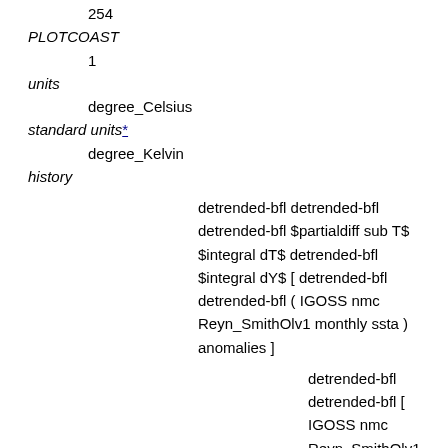254
PLOTCOAST
1
units
degree_Celsius
standard units*
degree_Kelvin
history
detrended-bfl detrended-bfl detrended-bfl $partialdiff sub T$ $integral dT$ detrended-bfl $integral dY$ [ detrended-bfl detrended-bfl ( IGOSS nmc Reyn_SmithOlv1 monthly ssta ) anomalies ]
detrended-bfl detrended-bfl [ IGOSS nmc Reyn_SmithOlv1 monthly ssta ]
Monthly mean sea surface temperature anomaly (blended from ship, buoy, and bias-corrected satellite data)